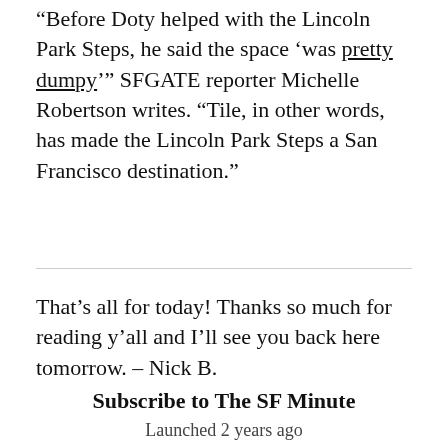“Before Doty helped with the Lincoln Park Steps, he said the space ‘was pretty dumpy’” SFGATE reporter Michelle Robertson writes. “Tile, in other words, has made the Lincoln Park Steps a San Francisco destination.”
That’s all for today! Thanks so much for reading y’all and I’ll see you back here tomorrow. – Nick B.
Subscribe to The SF Minute
Launched 2 years ago